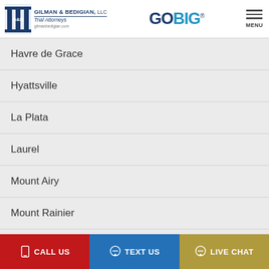Gilman & Bedigian, LLC — Trial Attorneys | GOBIG | MENU
Havre de Grace
Hyattsville
La Plata
Laurel
Mount Airy
Mount Rainier
New Carrollton
CALL US | TEXT US | LIVE CHAT